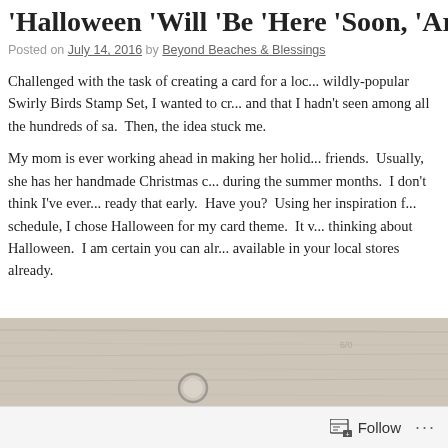'Halloween 'Will 'Be 'Here 'Soon, 'Are 'You...
Posted on July 14, 2016 by Beyond Beaches & Blessings
Challenged with the task of creating a card for a loc... wildly-popular Swirly Birds Stamp Set, I wanted to cr... and that I hadn't seen among all the hundreds of sa...  Then, the idea stuck me.
My mom is ever working ahead in making her holid... friends.  Usually, she has her handmade Christmas c... during the summer months.  I don't think I've ever... ready that early.  Have you?  Using her inspiration f... schedule, I chose Halloween for my card theme.  It v... thinking about Halloween.  I am certain you can alr... available in your local stores already.
[Figure (photo): Partial view of a wooden surface background, light gray-brown wood grain texture, with a circular white/translucent icon visible.]